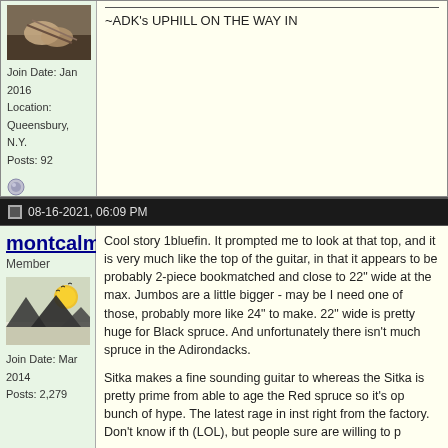[Figure (photo): Avatar photo showing close-up of hands/feet with rope or instrument parts]
Join Date: Jan 2016
Location: Queensbury, N.Y.
Posts: 92
~ADK's UPHILL ON THE WAY IN
08-16-2021, 06:09 PM
montcalm
Member
[Figure (illustration): Stylized landscape with mountains and sun with birds]
Join Date: Mar 2014
Posts: 2,279
Cool story 1bluefin. It prompted me to look at that top, and it is very much like the top of the guitar, in that it appears to be probably 2-piece bookmatched and close to 22" wide at the max. Jumbos are a little bigger - maybe I need one of those, probably more like 24" to make. 22" wide is pretty huge for Black spruce. And unfortunately there isn't much spruce in the Adirondacks.
Sitka makes a fine sounding guitar top, it just becomes prime, whereas the Sitka is pretty prime from the start. We're not able to age the Red spruce so it's optimum, could be a bunch of hype. The latest rage in instruments is torrefied right from the factory. Don't know if that's just marketing (LOL), but people sure are willing to p
Last edited by montcalm; 08-16-2021 at 07:1